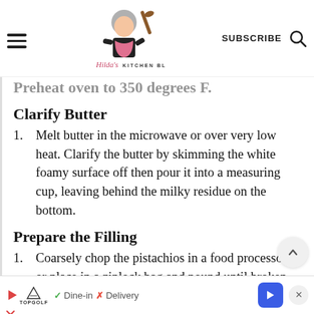Hilda's Kitchen Blog | SUBSCRIBE
Clarify Butter
Melt butter in the microwave or over very low heat. Clarify the butter by skimming the white foamy surface off then pour it into a measuring cup, leaving behind the milky residue on the bottom.
Prepare the Filling
Coarsely chop the pistachios in a food processor, or place in a ziplock bag and pound until broken up. Mix cardamom and cinnamon in with the chopped
Dine-in  Delivery — Topgolf ad